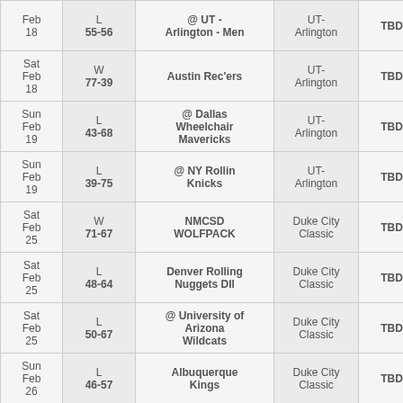| Date | Result | Opponent | Location | Time |  |
| --- | --- | --- | --- | --- | --- |
| Feb 18 | L 55-56 | @ UT - Arlington - Men | UT-Arlington | TBD | - |
| Sat Feb 18 | W 77-39 | Austin Rec'ers | UT-Arlington | TBD | - |
| Sun Feb 19 | L 43-68 | @ Dallas Wheelchair Mavericks | UT-Arlington | TBD | - |
| Sun Feb 19 | L 39-75 | @ NY Rollin Knicks | UT-Arlington | TBD | - |
| Sat Feb 25 | W 71-67 | NMCSD WOLFPACK | Duke City Classic | TBD | - |
| Sat Feb 25 | L 48-64 | Denver Rolling Nuggets DII | Duke City Classic | TBD | - |
| Sat Feb 25 | L 50-67 | @ University of Arizona Wildcats | Duke City Classic | TBD | - |
| Sun Feb 26 | L 46-57 | Albuquerque Kings | Duke City Classic | TBD | - |